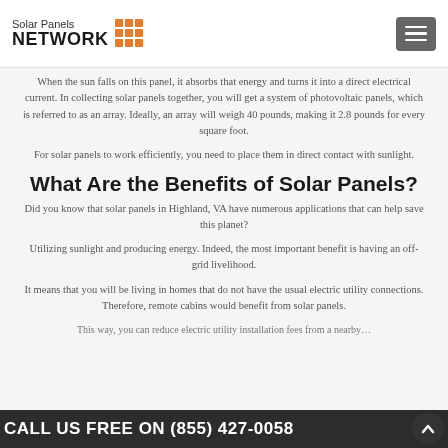Solar Panels NETWORK
When the sun falls on this panel, it absorbs that energy and turns it into a direct electrical current. In collecting solar panels together, you will get a system of photovoltaic panels, which is referred to as an array. Ideally, an array will weigh 40 pounds, making it 2.8 pounds for every square foot.
For solar panels to work efficiently, you need to place them in direct contact with sunlight.
What Are the Benefits of Solar Panels?
Did you know that solar panels in Highland, VA have numerous applications that can help save this planet?
Utilizing sunlight and producing energy. Indeed, the most important benefit is having an off-grid livelihood.
It means that you will be living in homes that do not have the usual electric utility connections. Therefore, remote cabins would benefit from solar panels.
CALL US FREE ON (855) 427-0058